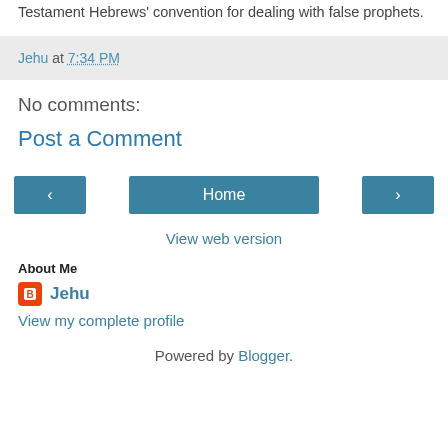Testament Hebrews' convention for dealing with false prophets.
Jehu at 7:34 PM
No comments:
Post a Comment
‹  Home  ›
View web version
About Me
Jehu
View my complete profile
Powered by Blogger.